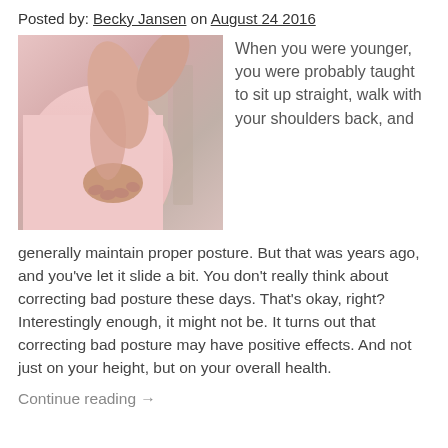Posted by: Becky Jansen on August 24 2016
[Figure (photo): Person in pink shirt holding their lower back, suggesting back pain or posture issues]
When you were younger, you were probably taught to sit up straight, walk with your shoulders back, and generally maintain proper posture. But that was years ago, and you've let it slide a bit. You don't really think about correcting bad posture these days. That's okay, right? Interestingly enough, it might not be. It turns out that correcting bad posture may have positive effects. And not just on your height, but on your overall health.
Continue reading →